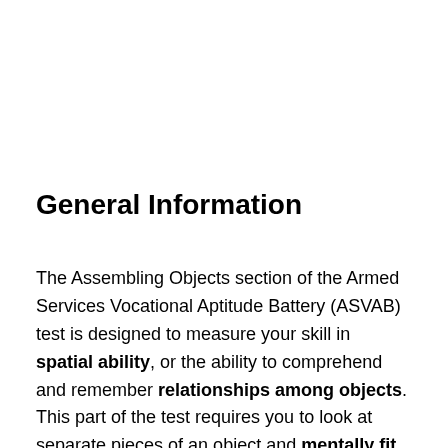General Information
The Assembling Objects section of the Armed Services Vocational Aptitude Battery (ASVAB) test is designed to measure your skill in spatial ability, or the ability to comprehend and remember relationships among objects. This part of the test requires you to look at separate pieces of an object and mentally fit them together. Although this test is not currently used as a